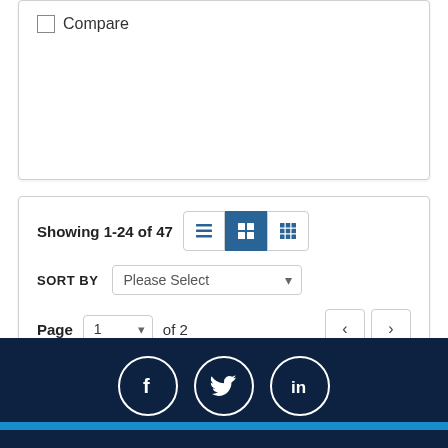Compare
Showing 1-24 of 47
SORT BY  Please Select
Page  1  of 2
[Figure (infographic): Footer bar with Facebook, Twitter, and LinkedIn social icons in white circles on dark navy background, with blue strip at bottom]